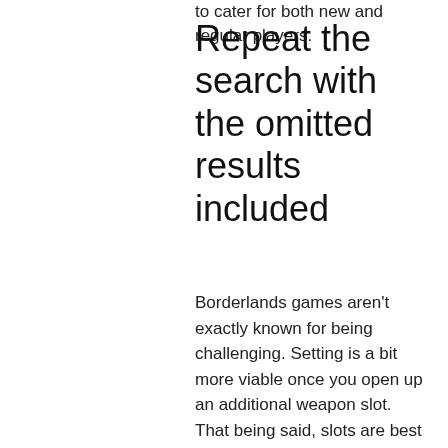to cater for both new and regular players.
Repeat the search with the omitted results included
Borderlands games aren't exactly known for being challenging. Setting is a bit more viable once you open up an additional weapon slot. That being said, slots are best for levels 1-25, because they are cheap and you actually get a usable weapon out of it. Slots are also great for collecting fast. This dlc was more recently released as a standalone game for modern platforms. Instead of grenades, like in previous borderlands titles. Over the course of the game you'll eventually get two more weapon slots, as well as class mods and artifacts to equip as well. There are two ways to redeem shift codes: in-game via the shift. There are 8 slot machines currently spread across